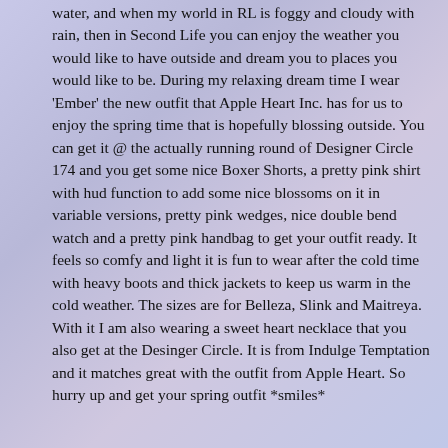water, and when my world in RL is foggy and cloudy with rain, then in Second Life you can enjoy the weather you would like to have outside and dream you to places you would like to be. During my relaxing dream time I wear 'Ember' the new outfit that Apple Heart Inc. has for us to enjoy the spring time that is hopefully blossing outside. You can get it @ the actually running round of Designer Circle 174 and you get some nice Boxer Shorts, a pretty pink shirt with hud function to add some nice blossoms on it in variable versions, pretty pink wedges, nice double bend watch and a pretty pink handbag to get your outfit ready. It feels so comfy and light it is fun to wear after the cold time with heavy boots and thick jackets to keep us warm in the cold weather. The sizes are for Belleza, Slink and Maitreya. With it I am also wearing a sweet heart necklace that you also get at the Desinger Circle. It is from Indulge Temptation and it matches great with the outfit from Apple Heart. So hurry up and get your spring outfit *smiles*